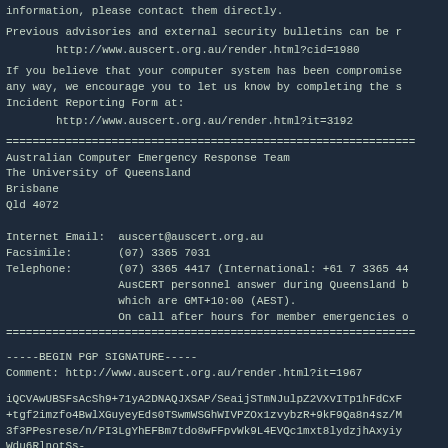information, please contact them directly.
Previous advisories and external security bulletins can be r
http://www.auscert.org.au/render.html?cid=1980
If you believe that your computer system has been compromise
any way, we encourage you to let us know by completing the s
Incident Reporting Form at:
http://www.auscert.org.au/render.html?it=3192
==============================================================
Australian Computer Emergency Response Team
The University of Queensland
Brisbane
Qld 4072

Internet Email:  auscert@auscert.org.au
Facsimile:       (07) 3365 7031
Telephone:       (07) 3365 4417 (International: +61 7 3365 44
                 AusCERT personnel answer during Queensland b
                 which are GMT+10:00 (AEST).
                 On call after hours for member emergencies o
==============================================================
-----BEGIN PGP SIGNATURE-----
Comment: http://www.auscert.org.au/render.html?it=1967
iQCVAwUBSFsAcSh9+71yA2DNAQJXSAP/SeaijSTmNJulpZ2VXvITp1hFdCxF
+tgf2imzfo4BwlXGuyeyEds0TSwmWSGhWIVPZOx1zvybzR+9kF9Qa8n4sz/M
3f3PPesrese/n/PI3LgYhEFBm7tdo8wFFpvWk9L4EVQc1mxt8lydzjhAxyiy
Wdu6RlnotSs-